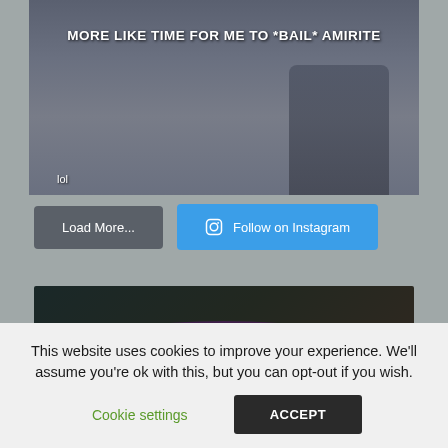[Figure (photo): Meme image showing armored figures in a dark scene with bold white text 'MORE LIKE TIME FOR ME TO *BAIL* AMIRITE' and 'lol' in white text]
Load More...
Follow on Instagram
[Figure (photo): Dark game screenshot with neon purple/pink glow and stylized characters]
This website uses cookies to improve your experience. We'll assume you're ok with this, but you can opt-out if you wish.
Cookie settings
ACCEPT